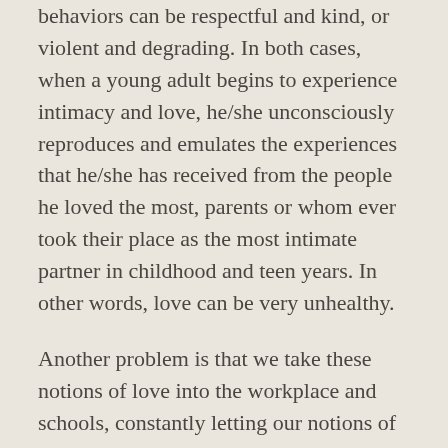behaviors can be respectful and kind, or violent and degrading. In both cases, when a young adult begins to experience intimacy and love, he/she unconsciously reproduces and emulates the experiences that he/she has received from the people he loved the most, parents or whom ever took their place as the most intimate partner in childhood and teen years. In other words, love can be very unhealthy.
Another problem is that we take these notions of love into the workplace and schools, constantly letting our notions of the world rule our relationships to others. This creates not only a very stressful world for all involved but also a type of emotional lives that is not sustainable. Stress depresses the body, toxicity in the environment eventually poisons the body.
What do we need to do to overcome the adverse effects of